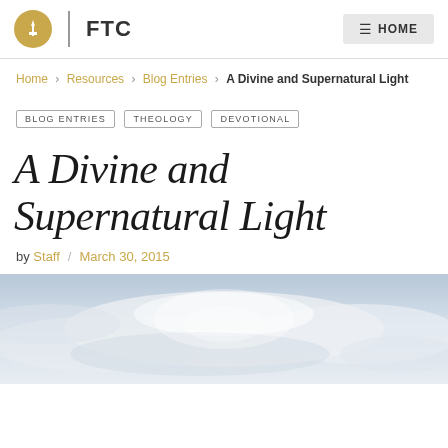FTC | HOME
Home › Resources › Blog Entries › A Divine and Supernatural Light
BLOG ENTRIES  THEOLOGY  DEVOTIONAL
A Divine and Supernatural Light
by Staff / March 30, 2015
[Figure (photo): Sky with clouds, mostly pale blue-grey, soft light breaking through]